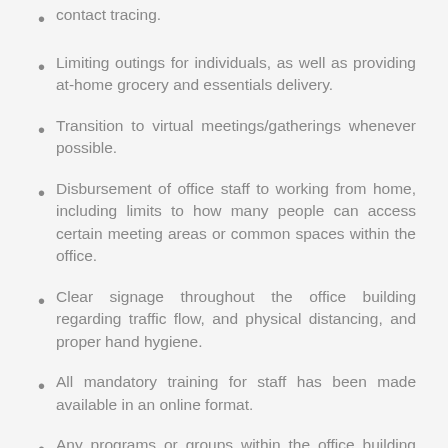contact tracing.
Limiting outings for individuals, as well as providing at-home grocery and essentials delivery.
Transition to virtual meetings/gatherings whenever possible.
Disbursement of office staff to working from home, including limits to how many people can access certain meeting areas or common spaces within the office.
Clear signage throughout the office building regarding traffic flow, and physical distancing, and proper hand hygiene.
All mandatory training for staff has been made available in an online format.
Any programs or groups within the office building are kept in isolation